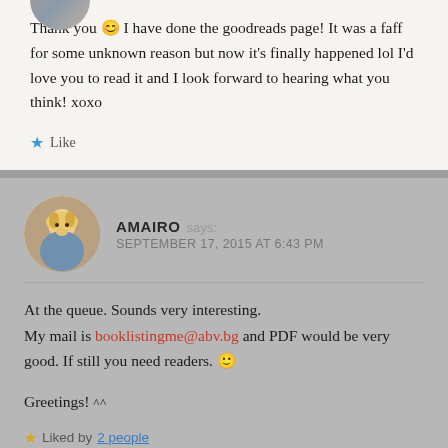Thank you 😊 I have done the goodreads page! It was a faff for some unknown reason but now it's finally happened lol I'd love you to read it and I look forward to hearing what you think! xoxo
Like
AMAIRO says: SEPTEMBER 17, 2015 AT 6:43 PM
At the queue. Sounds very interesting.
My mail is booklistingme@abv.bg and PDF would be very good. If still you need readers. 🙂

Greetings! ^^
Liked by 2 people